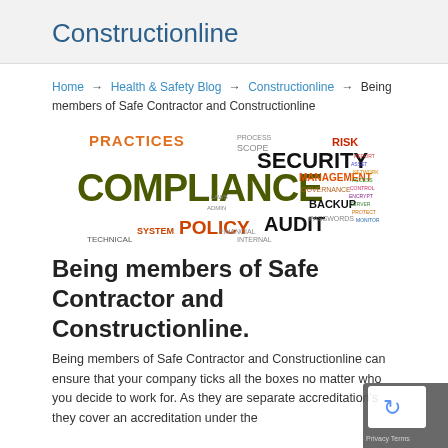Constructionline
Home → Health & Safety Blog → Constructionline → Being members of Safe Contractor and Constructionline
[Figure (infographic): Word cloud featuring compliance-related terms including COMPLIANCE, SECURITY, RISK, MANAGEMENT, POLICY, AUDIT, PRACTICES, BACKUP, SYSTEM, TECHNICAL, FINANCIAL, INTERNAL, SCOPE, and others in various colors and sizes.]
Being members of Safe Contractor and Constructionline.
Being members of Safe Contractor and Constructionline can ensure that your company ticks all the boxes no matter who you decide to work for. As they are separate accreditation's they cover an accreditation under the